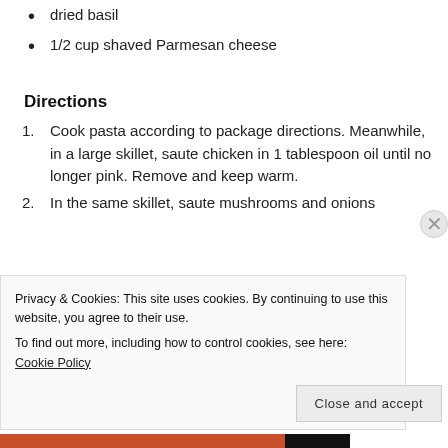dried basil
1/2 cup shaved Parmesan cheese
Directions
1. Cook pasta according to package directions. Meanwhile, in a large skillet, saute chicken in 1 tablespoon oil until no longer pink. Remove and keep warm.
2. In the same skillet, saute mushrooms and onions
Privacy & Cookies: This site uses cookies. By continuing to use this website, you agree to their use.
To find out more, including how to control cookies, see here: Cookie Policy
Close and accept